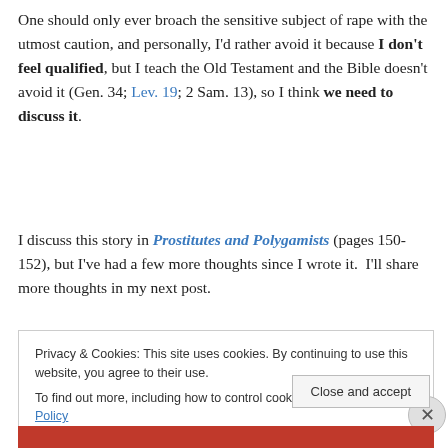One should only ever broach the sensitive subject of rape with the utmost caution, and personally, I'd rather avoid it because I don't feel qualified, but I teach the Old Testament and the Bible doesn't avoid it (Gen. 34; Lev. 19; 2 Sam. 13), so I think we need to discuss it.
I discuss this story in Prostitutes and Polygamists (pages 150-152), but I've had a few more thoughts since I wrote it.  I'll share more thoughts in my next post.
Privacy & Cookies: This site uses cookies. By continuing to use this website, you agree to their use.
To find out more, including how to control cookies, see here: Cookie Policy